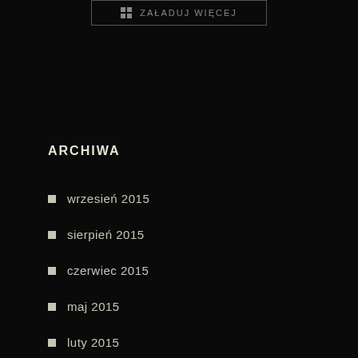[Figure (other): Button with grid icon and text ZAŁADUJ WIĘCEJ]
ARCHIWA
wrzesień 2015
sierpień 2015
czerwiec 2015
maj 2015
luty 2015
styczeń 2015